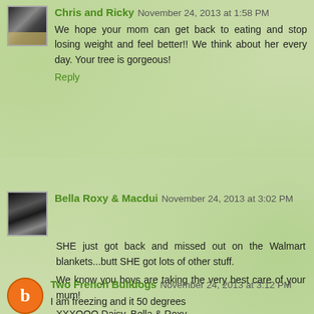Chris and Ricky November 24, 2013 at 1:58 PM
We hope your mom can get back to eating and stop losing weight and feel better!! We think about her every day. Your tree is gorgeous!
Reply
Bella Roxy & Macdui November 24, 2013 at 3:02 PM
SHE just got back and missed out on the Walmart blankets...butt SHE got lots of other stuff.
We know you boys are taking the very best care of your mum!
XXXOOO Daisy, Bella & Roxy
Reply
Two French Bulldogs November 24, 2013 at 3:12 PM
I am freezing and it 50 degrees
Lily